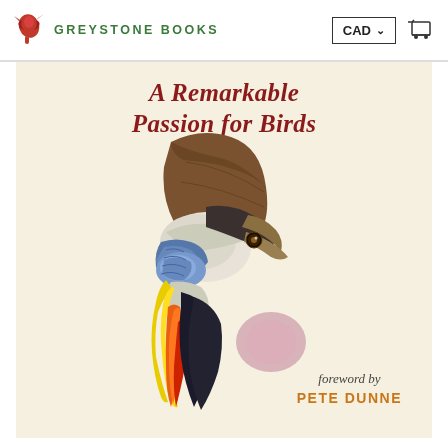[Figure (logo): Greystone Books logo: red bird icon on left, text 'GREYSTONE BOOKS' in green bold caps, CAD currency selector button top right, shopping cart icon]
[Figure (illustration): Book cover for 'A Remarkable Passion for Birds' published by Greystone Books. Cream/off-white background with a detailed illustrated portrait of a cassowary bird head and neck, showing its distinctive brown casque (helmet-like head crest), dark beak, blue and white neck feathers, colorful chest plumage in yellow, orange, red. Title in red italic serif font at top. Foreword by Pete Dunne noted in orange at bottom right.]
A Remarkable Passion for Birds
foreword by PETE DUNNE